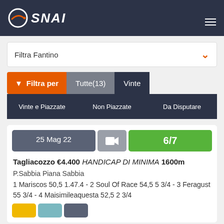SNAI
Filtra Fantino
Filtra per  Tutte(13)  Vinte
Vinte e Piazzate  Non Piazzate  Da Disputare
25 Mag 22  6/7
Tagliacozzo €4.400 HANDICAP DI MINIMA 1600m
P.Sabbia Piana Sabbia
1 Mariscos 50,5 1.47.4 - 2 Soul Of Race 54,5 5 3/4 - 3 Feragust 55 3/4 - 4 Maisimileaquesta 52,5 2 3/4